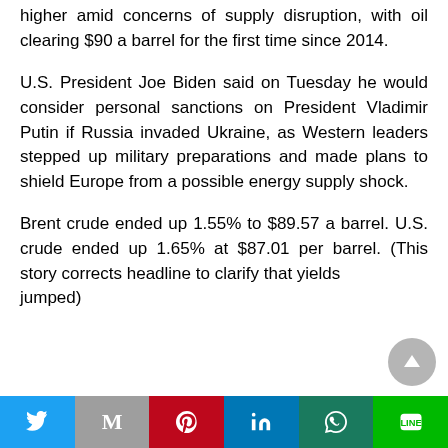higher amid concerns of supply disruption, with oil clearing $90 a barrel for the first time since 2014.
U.S. President Joe Biden said on Tuesday he would consider personal sanctions on President Vladimir Putin if Russia invaded Ukraine, as Western leaders stepped up military preparations and made plans to shield Europe from a possible energy supply shock.
Brent crude ended up 1.55% to $89.57 a barrel. U.S. crude ended up 1.65% at $87.01 per barrel. (This story corrects headline to clarify that yields jumped)